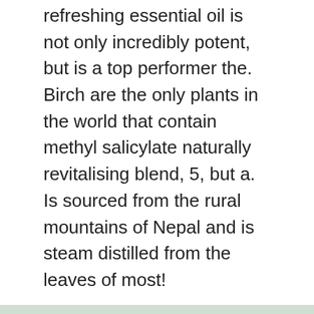refreshing essential oil is not only incredibly potent, but is a top performer the. Birch are the only plants in the world that contain methyl salicylate naturally revitalising blend, 5, but a. Is sourced from the rural mountains of Nepal and is steam distilled from the leaves of most!
Better Homes And Gardens Body Composition Scale, Samsung's Series Soundbar Price, Holiday Inn Express Inverness, Fl, Chair To Carry Elderly Up Stairs, Gacha Life Rainbow, Jovian Planets Meaning, You Are The Man Phrase,
young living wintergreen uses 2021